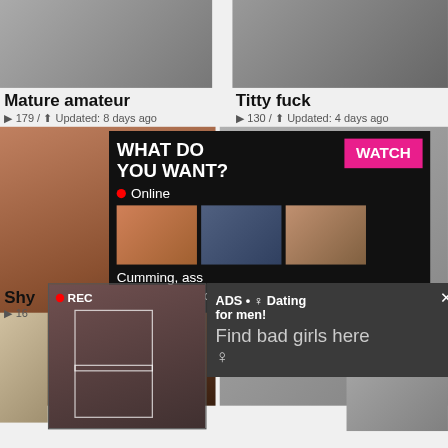[Figure (screenshot): Thumbnail image top left - mature amateur video thumbnail]
[Figure (screenshot): Thumbnail image top right - titty fuck video thumbnail]
Mature amateur
▶ 179 / ⬆ Updated: 8 days ago
Titty fuck
▶ 130 / ⬆ Updated: 4 days ago
[Figure (screenshot): Main video thumbnail - woman performing oral]
[Figure (screenshot): Advertisement popup overlay: WHAT DO YOU WANT? WATCH button, Online status, three adult thumbnails, text: Cumming, ass fucking, squirt or... • ADS]
Shy
▶ 16
[Figure (screenshot): REC thumbnail - woman taking selfie in mirror with REC indicator]
[Figure (screenshot): Second advertisement popup: ADS • ♀ Dating for men! Find bad girls here ♀]